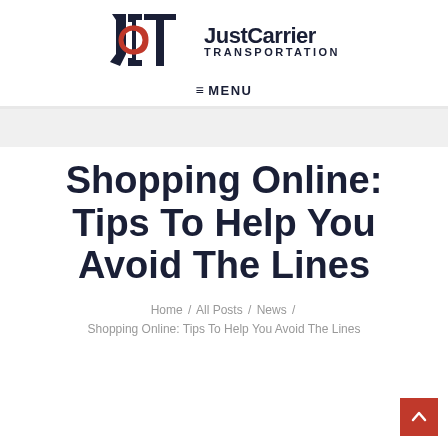[Figure (logo): JCT JustCarrier Transportation logo with stylized JCT letters in dark navy and red, followed by text 'JustCarrier TRANSPORTATION']
≡ MENU
Shopping Online: Tips To Help You Avoid The Lines
Home / All Posts / News / Shopping Online: Tips To Help You Avoid The Lines